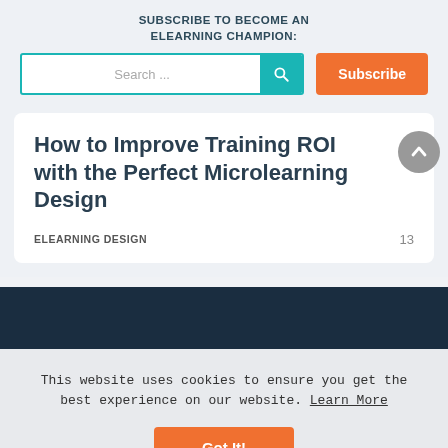SUBSCRIBE TO BECOME AN ELEARNING CHAMPION:
Search ...
Subscribe
How to Improve Training ROI with the Perfect Microlearning Design
ELEARNING DESIGN   13
This website uses cookies to ensure you get the best experience on our website. Learn More
Got It!